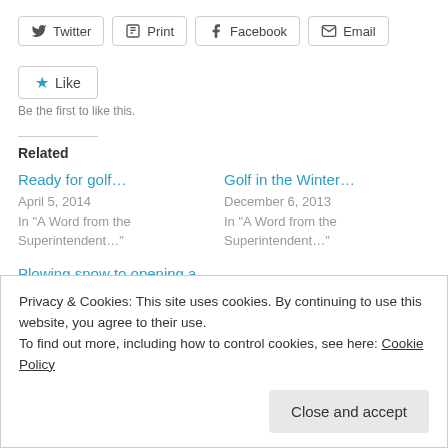Twitter | Print | Facebook | Email
Like
Be the first to like this.
Related
Ready for golf...
April 5, 2014
In "A Word from the Superintendent..."
Golf in the Winter...
December 6, 2013
In "A Word from the Superintendent..."
Plowing snow to opening a
Privacy & Cookies: This site uses cookies. By continuing to use this website, you agree to their use.
To find out more, including how to control cookies, see here: Cookie Policy
Close and accept